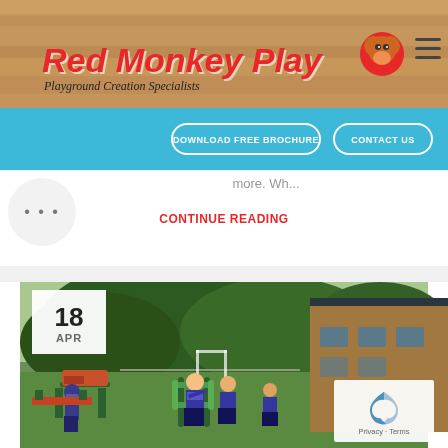[Figure (logo): Red Monkey Play logo with red text, monkey icon, and tagline 'Playground Creation Specialists' on a wood-grain background header]
[Figure (screenshot): Blue navigation band with 'DOWNLOAD FREE BROCHURE' and 'CONTACT US' buttons with pill-shaped white borders]
more. Wh...
CONTINUE READING
[Figure (photo): Children in blue school uniforms using outdoor gym equipment including rowing machines and cross trainers on an artificial grass playground with trees and a wooden building in the background. Date badge shows 18 APR.]